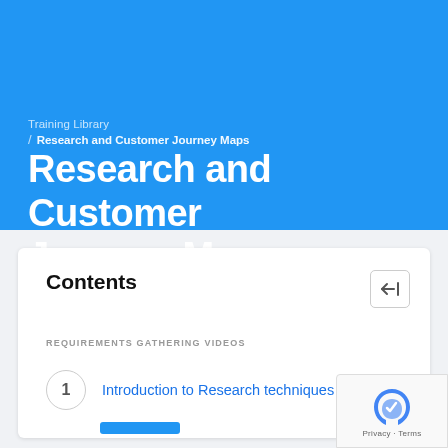Training Library / Research and Customer Journey Maps
Research and Customer Journey Maps
Contents
REQUIREMENTS GATHERING VIDEOS
1 Introduction to Research techniques